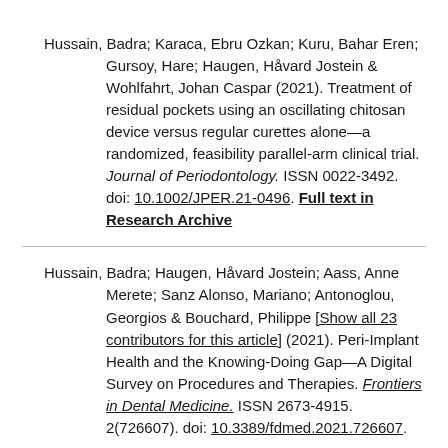Hussain, Badra; Karaca, Ebru Ozkan; Kuru, Bahar Eren; Gursoy, Hare; Haugen, Håvard Jostein & Wohlfahrt, Johan Caspar (2021). Treatment of residual pockets using an oscillating chitosan device versus regular curettes alone—a randomized, feasibility parallel-arm clinical trial. Journal of Periodontology. ISSN 0022-3492. doi: 10.1002/JPER.21-0496. Full text in Research Archive
Hussain, Badra; Haugen, Håvard Jostein; Aass, Anne Merete; Sanz Alonso, Mariano; Antonoglou, Georgios & Bouchard, Philippe [Show all 23 contributors for this article] (2021). Peri-Implant Health and the Knowing-Doing Gap—A Digital Survey on Procedures and Therapies. Frontiers in Dental Medicine. ISSN 2673-4915. 2(726607). doi: 10.3389/fdmed.2021.726607.